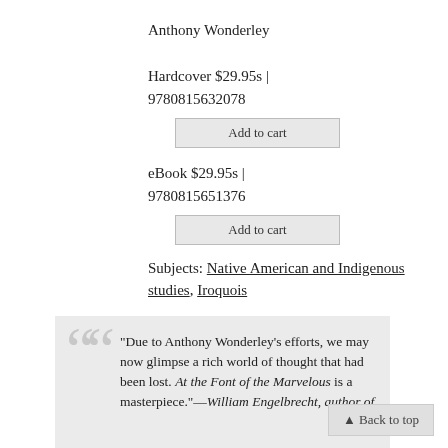Anthony Wonderley
Hardcover $29.95s | 9780815632078
Add to cart
eBook $29.95s | 9780815651376
Add to cart
Subjects: Native American and Indigenous studies, Iroquois
"Due to Anthony Wonderley’s efforts, we may now glimpse a rich world of thought that had been lost. At the Font of the Marvelous is a masterpiece."—William Engelbrecht, author of